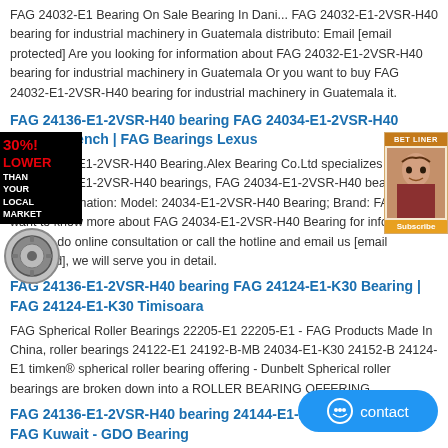FAG 24032-E1 Bearing On Sale Bearing In Dani... FAG 24032-E1-2VSR-H40 bearing for industrial machinery in Guatemala distributo: Email [email protected] Are you looking for information about FAG 24032-E1-2VSR-H40 bearing for industrial machinery in Guatemala Or you want to buy FAG 24032-E1-2VSR-H40 bearing for industrial machinery in Guatemala it.
FAG 24136-E1-2VSR-H40 bearing FAG 24034-E1-2VSR-H40 Bearing Bench | FAG Bearings Lexus
FAG 24034-E1-2VSR-H40 Bearing.Alex Bearing Co.Ltd specializes in selling FAG 24034-E1-2VSR-H40 bearings, FAG 24034-E1-2VSR-H40 bearing related information: Model: 24034-E1-2VSR-H40 Bearing; Brand: FAG, if you want to know more about FAG 24034-E1-2VSR-H40 Bearing for information, you can do online consultation or call the hotline and email us [email protected], we will serve you in detail.
FAG 24136-E1-2VSR-H40 bearing FAG 24124-E1-K30 Bearing | FAG 24124-E1-K30 Timisoara
FAG Spherical Roller Bearings 22205-E1 22205-E1 - FAG Products Made In China, roller bearings 24122-E1 24192-B-MB 24034-E1-K30 24152-B 24124-E1 timken® spherical roller bearing offering - Dunbelt Spherical roller bearings are broken down into a ROLLER BEARING OFFERING .
FAG 24136-E1-2VSR-H40 bearing 24144-E1-2VSR-H40 Bearing - FAG Kuwait - GDO Bearing
[Figure (infographic): Ad banner with 30% LOWER THAN YOUR LOCAL MARKET text in red and black]
[Figure (infographic): Top right advertisement image showing a person's face with a Subscribe button]
[Figure (infographic): Blue contact button with smiley face icon at the bottom right]